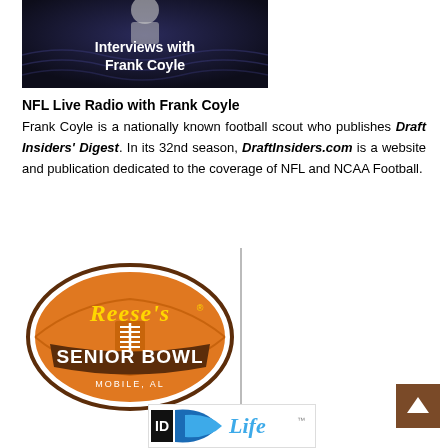[Figure (photo): Dark blue/navy background image with text 'Interviews with Frank Coyle' in white bold font, with a person partially visible at the top]
NFL Live Radio with Frank Coyle
Frank Coyle is a nationally known football scout who publishes Draft Insiders' Digest. In its 32nd season, DraftInsiders.com is a website and publication dedicated to the coverage of NFL and NCAA Football.
[Figure (logo): Reese's Senior Bowl logo - orange football shape with 'Reese's' in yellow script on top and 'SENIOR BOWL' in white block letters, with 'MOBILE, AL' text at bottom]
[Figure (logo): Partial logo at bottom, appears to be 'ID Life' branding with blue swoosh design]